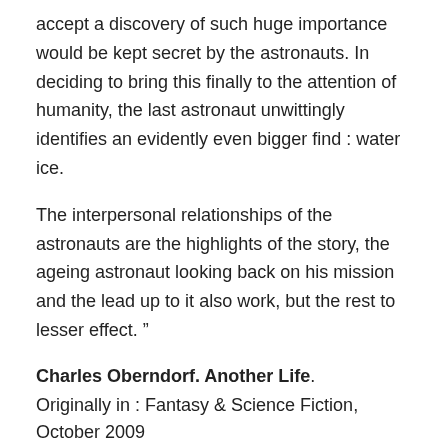accept a discovery of such huge importance would be kept secret by the astronauts. In deciding to bring this finally to the attention of humanity, the last astronaut unwittingly identifies an evidently even bigger find : water ice.
The interpersonal relationships of the astronauts are the highlights of the story, the ageing astronaut looking back on his mission and the lead up to it also work, but the rest to lesser effect. ”
Charles Oberndorf. Another Life. Originally in : Fantasy & Science Fiction, October 2009
When it appeared last year I was impressed:
“Engrossed in this SF story, I was under the misapprehension that I was reading a Haldeman